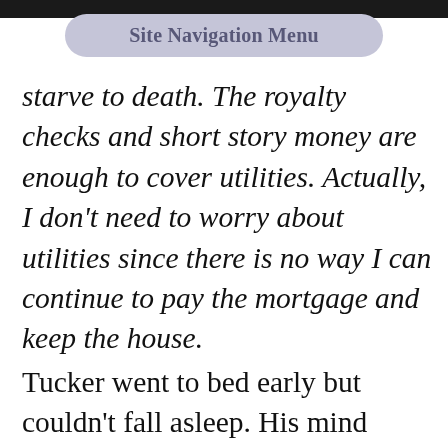Site Navigation Menu
starve to death. The royalty checks and short story money are enough to cover utilities. Actually, I don't need to worry about utilities since there is no way I can continue to pay the mortgage and keep the house.
Tucker went to bed early but couldn't fall asleep. His mind